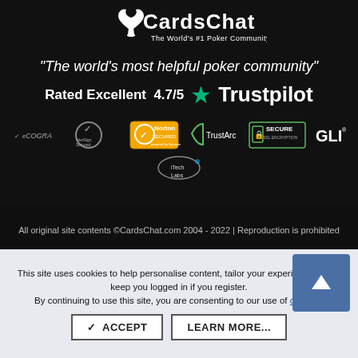[Figure (logo): CardsChat logo - The World's #1 Poker Community]
“The world’s most helpful poker community”
Rated Excellent 4.7/5 ★ Trustpilot
[Figure (infographic): Trust badges: eCOGRA, VeriSign Secured, Norton SECURED, TrustArc, SECURE SSL ENCRYPTION, GLI, iTech Labs]
All original site contents ©CardsChat.com 2004 - 2022 | Reproduction is prohibited
This site uses cookies to help personalise content, tailor your experience and to keep you logged in if you register.
By continuing to use this site, you are consenting to our use of cookies.
✓ ACCEPT   LEARN MORE...